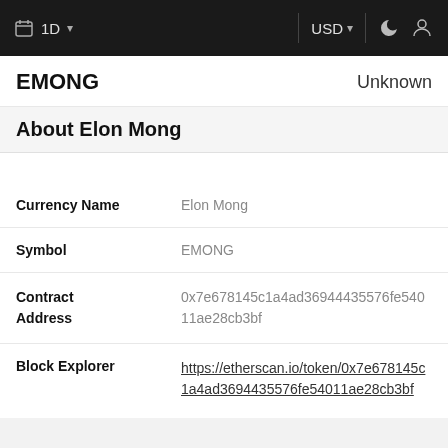1D  USD
EMONG   Unknown
About Elon Mong
| Field | Value |
| --- | --- |
| Currency Name | Elon Mong |
| Symbol | EMONG |
| Contract Address | 0x7e678145c1a4ad36944435576fe54011ae28cb3bf |
| Block Explorer | https://etherscan.io/token/0x7e678145c1a4ad36944435576fe54011ae28cb3bf |